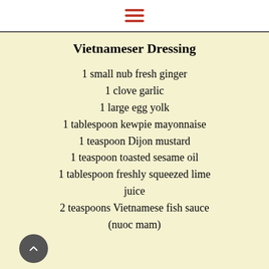≡
Vietnameser Dressing
1 small nub fresh ginger
1 clove garlic
1 large egg yolk
1 tablespoon kewpie mayonnaise
1 teaspoon Dijon mustard
1 teaspoon toasted sesame oil
1 tablespoon freshly squeezed lime juice
2 teaspoons Vietnamese fish sauce (nuoc mam)